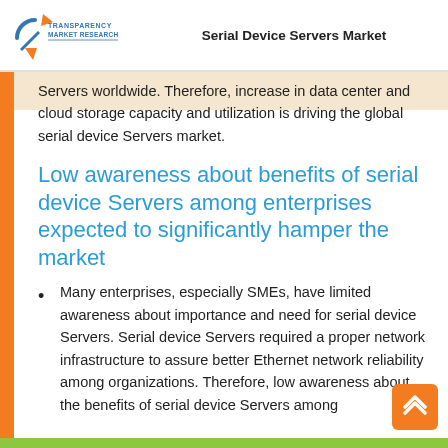Serial Device Servers Market
Servers worldwide. Therefore, increase in data center and cloud storage capacity and utilization is driving the global serial device Servers market.
Low awareness about benefits of serial device Servers among enterprises expected to significantly hamper the market
Many enterprises, especially SMEs, have limited awareness about importance and need for serial device Servers. Serial device Servers required a proper network infrastructure to assure better Ethernet network reliability among organizations. Therefore, low awareness about the benefits of serial device Servers among enterprises is expected to significantly hamper the market.